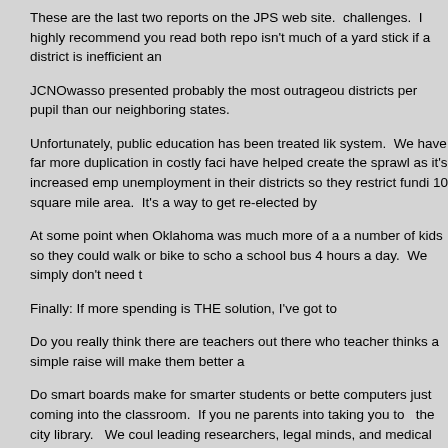These are the last two reports on the JPS web site. challenges.  I highly recommend you read both repo isn't much of a yard stick if a district is inefficient an
JCNOwasso presented probably the most outrageou districts per pupil than our neighboring states.
Unfortunately, public education has been treated lik system.  We have far more duplication in costly faci have helped create the sprawl as it's increased emp unemployment in their districts so they restrict fundi 10 square mile area.  It's a way to get re-elected by
At some point when Oklahoma was much more of a a number of kids so they could walk or bike to scho a school bus 4 hours a day.  We simply don't need t
Finally: If more spending is THE solution, I've got to
Do you really think there are teachers out there who teacher thinks a simple raise will make them better a
Do smart boards make for smarter students or bette computers just coming into the classroom.  If you ne parents into taking you to   the city library.   We coul leading researchers, legal minds, and medical min